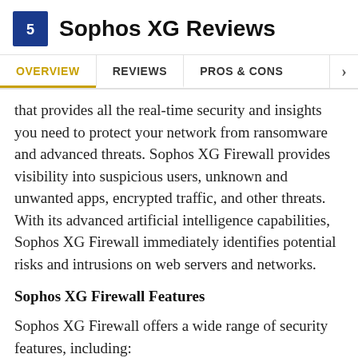Sophos XG Reviews
OVERVIEW | REVIEWS | PROS & CONS
that provides all the real-time security and insights you need to protect your network from ransomware and advanced threats. Sophos XG Firewall provides visibility into suspicious users, unknown and unwanted apps, encrypted traffic, and other threats. With its advanced artificial intelligence capabilities, Sophos XG Firewall immediately identifies potential risks and intrusions on web servers and networks.
Sophos XG Firewall Features
Sophos XG Firewall offers a wide range of security features, including: